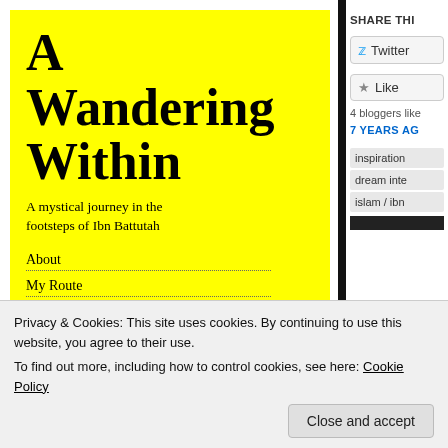[Figure (illustration): Yellow book cover for 'A Wandering Within: A mystical journey in the footsteps of Ibn Battutah' with navigation menu items: About, My Route, Wakhan Corridor, Musings]
A Wandering Within
A mystical journey in the footsteps of Ibn Battutah
About
My Route
Wakhan Corridor
Musings
SHARE THI
Twitter
Like
4 bloggers like
7 YEARS AG
inspiration
dream inte
islam / ibn
Privacy & Cookies: This site uses cookies. By continuing to use this website, you agree to their use.
To find out more, including how to control cookies, see here: Cookie Policy
Close and accept